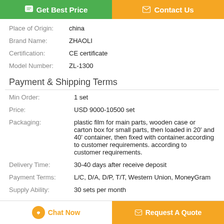[Figure (other): Two CTA buttons: 'Get Best Price' (green) and 'Contact Us' (orange)]
| Place of Origin: | china |
| Brand Name: | ZHAOLI |
| Certification: | CE certificate |
| Model Number: | ZL-1300 |
Payment & Shipping Terms
| Min Order: | 1 set |
| Price: | USD 9000-10500 set |
| Packaging: | plastic film for main parts, wooden case or carton box for small parts, then loaded in 20' and 40' container, then fixed with container.according to customer requirements. according to customer requirements. |
| Delivery Time: | 30-40 days after receive deposit |
| Payment Terms: | L/C, D/A, D/P, T/T, Western Union, MoneyGram |
| Supply Ability: | 30 sets per month |
[Figure (other): Two bottom buttons: 'Chat Now' (white/orange) and 'Request A Quote' (orange)]